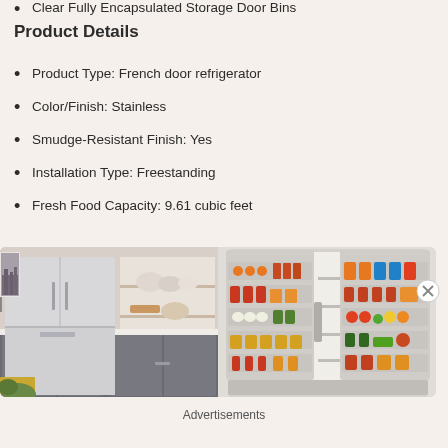Clear Fully Encapsulated Storage Door Bins
Product Details
Product Type: French door refrigerator
Color/Finish: Stainless
Smudge-Resistant Finish: Yes
Installation Type: Freestanding
Fresh Food Capacity: 9.61 cubic feet
[Figure (photo): Stainless steel French door refrigerator in a modern kitchen with gray cabinets and white shelving]
[Figure (photo): Open French door refrigerator showing fully stocked interior with fruits, vegetables, beverages and condiments]
Advertisements